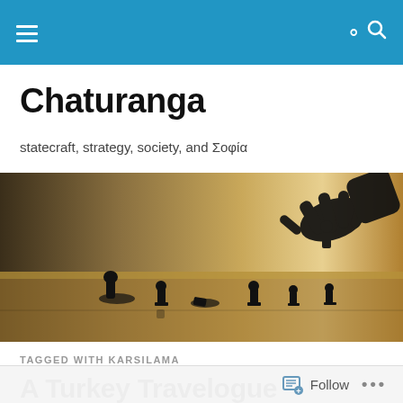Chaturanga
statecraft, strategy, society, and Σοφία
[Figure (photo): Sepia-toned photograph of a hand reaching down to pick up a chess piece among several chess pieces on a board, silhouetted against a warm tan background.]
TAGGED WITH KARSILAMA
A Turkey Travelogue